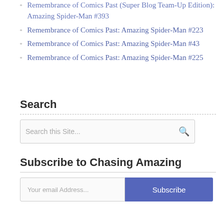Remembrance of Comics Past (Super Blog Team-Up Edition): Amazing Spider-Man #393
Remembrance of Comics Past: Amazing Spider-Man #223
Remembrance of Comics Past: Amazing Spider-Man #43
Remembrance of Comics Past: Amazing Spider-Man #225
Search
Subscribe to Chasing Amazing